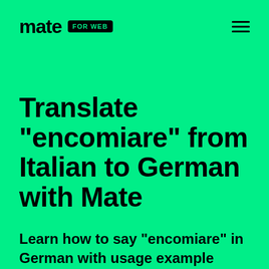mate FOR WEB
Translate "encomiare" from Italian to German with Mate
Learn how to say "encomiare" in German with usage example sentences, synonyms, relevant words, and pronunciation. Powered by Mate.